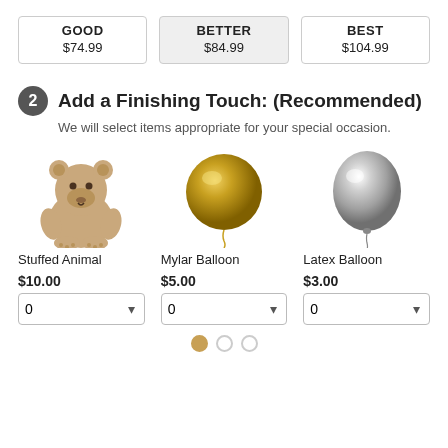| GOOD | BETTER | BEST |
| --- | --- | --- |
| $74.99 | $84.99 | $104.99 |
2 Add a Finishing Touch: (Recommended)
We will select items appropriate for your special occasion.
[Figure (illustration): Stuffed Animal - brown teddy bear]
Stuffed Animal
$10.00
[Figure (illustration): Mylar Balloon - gold foil round balloon]
Mylar Balloon
$5.00
[Figure (illustration): Latex Balloon - silver round balloon]
Latex Balloon
$3.00